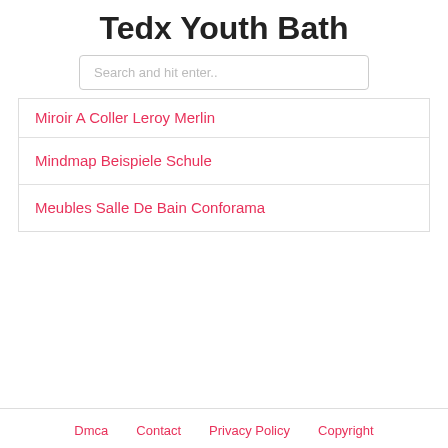Tedx Youth Bath
Search and hit enter..
Miroir A Coller Leroy Merlin
Mindmap Beispiele Schule
Meubles Salle De Bain Conforama
Dmca   Contact   Privacy Policy   Copyright